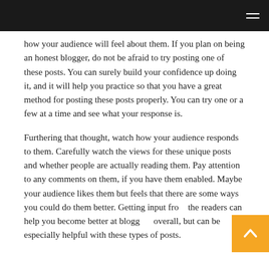how your audience will feel about them. If you plan on being an honest blogger, do not be afraid to try posting one of these posts. You can surely build your confidence up doing it, and it will help you practice so that you have a great method for posting these posts properly. You can try one or a few at a time and see what your response is.
Furthering that thought, watch how your audience responds to them. Carefully watch the views for these unique posts and whether people are actually reading them. Pay attention to any comments on them, if you have them enabled. Maybe your audience likes them but feels that there are some ways you could do them better. Getting input from the readers can help you become better at blogging overall, but can be especially helpful with these types of posts.